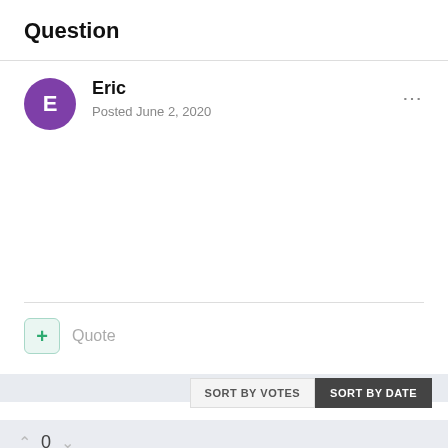Question
Eric
Posted June 2, 2020
Quote
SORT BY VOTES  SORT BY DATE
0
Sam